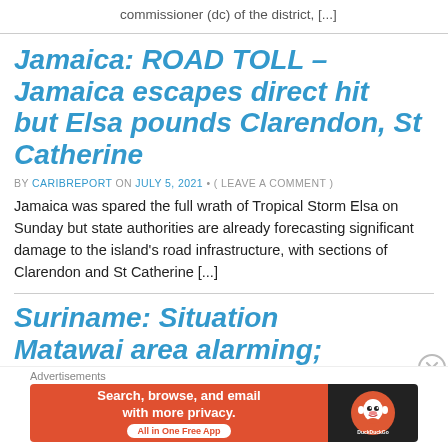commissioner (dc) of the district, [...]
Jamaica: ROAD TOLL – Jamaica escapes direct hit but Elsa pounds Clarendon, St Catherine
BY CARIBREPORT ON JULY 5, 2021 • ( LEAVE A COMMENT )
Jamaica was spared the full wrath of Tropical Storm Elsa on Sunday but state authorities are already forecasting significant damage to the island's road infrastructure, with sections of Clarendon and St Catherine [...]
Suriname: Situation Matawai area alarming; evacuation of villagers
[Figure (screenshot): DuckDuckGo advertisement banner: orange section with 'Search, browse, and email with more privacy. All in One Free App' and black section with DuckDuckGo logo]